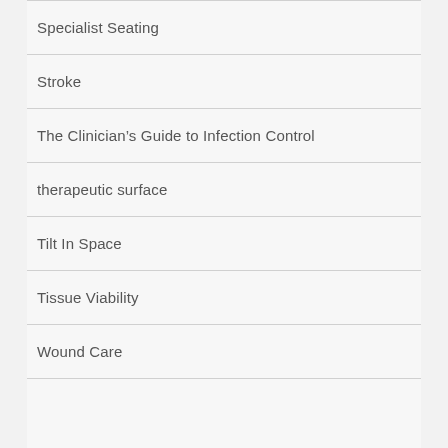Specialist Seating
Stroke
The Clinician's Guide to Infection Control
therapeutic surface
Tilt In Space
Tissue Viability
Wound Care